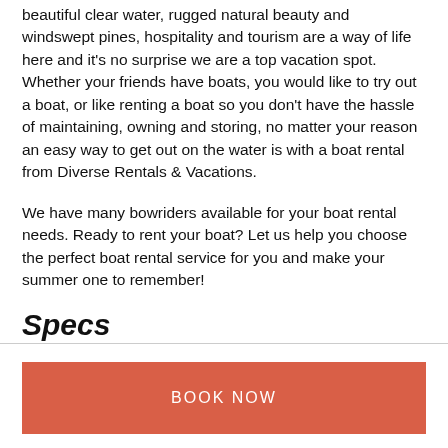beautiful clear water, rugged natural beauty and windswept pines, hospitality and tourism are a way of life here and it's no surprise we are a top vacation spot. Whether your friends have boats, you would like to try out a boat, or like renting a boat so you don't have the hassle of maintaining, owning and storing, no matter your reason an easy way to get out on the water is with a boat rental from Diverse Rentals & Vacations.
We have many bowriders available for your boat rental needs. Ready to rent your boat? Let us help you choose the perfect boat rental service for you and make your summer one to remember!
Specs
BOOK NOW